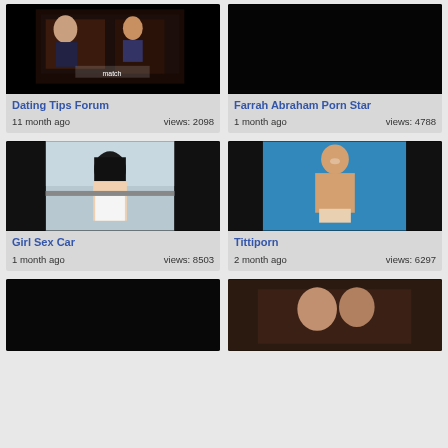[Figure (photo): Thumbnail image of dating tips forum scene - couple at restaurant with match logo]
Dating Tips Forum
11 month ago   views: 2098
[Figure (photo): Thumbnail image mostly black - Farrah Abraham Porn Star]
Farrah Abraham Porn Star
1 month ago   views: 4788
[Figure (photo): Thumbnail image of girl in car]
Girl Sex Car
1 month ago   views: 8503
[Figure (photo): Thumbnail image of woman on blue background]
Tittiporn
2 month ago   views: 6297
[Figure (photo): Thumbnail image mostly black]
[Figure (photo): Thumbnail image of two people in car]